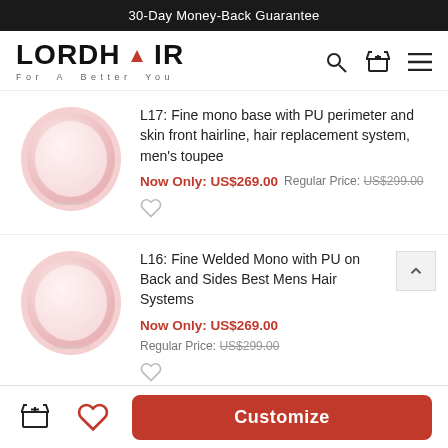30-Day Money-Back Guarantee
[Figure (logo): LORDHAIR logo with red triangle accent and tagline For A Better You]
[Figure (illustration): Product image for L17: egg-shaped pink/white hair system base]
L17: Fine mono base with PU perimeter and skin front hairline, hair replacement system, men's toupee
Now Only: US$269.00  Regular Price: US$299.00
[Figure (illustration): Product image for L16: egg-shaped pink/white hair system base]
L16: Fine Welded Mono with PU on Back and Sides Best Mens Hair Systems
Now Only: US$269.00  Regular Price: US$299.00
Customize